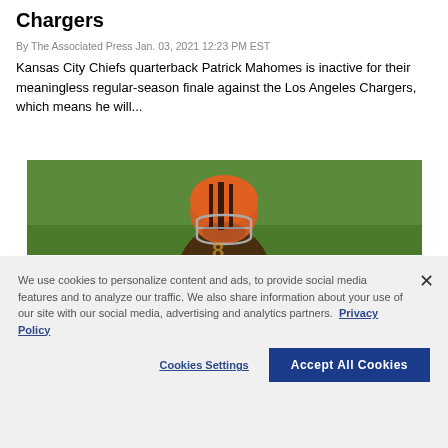Chargers
By The Associated Press Jan. 03, 2021 12:23 PM EST
Kansas City Chiefs quarterback Patrick Mahomes is inactive for their meaningless regular-season finale against the Los Angeles Chargers, which means he will...
[Figure (photo): NFL football player wearing a brown and orange helmet with face mask, on a green field background]
We use cookies to personalize content and ads, to provide social media features and to analyze our traffic. We also share information about your use of our site with our social media, advertising and analytics partners. Privacy Policy
Cookies Settings | Accept All Cookies